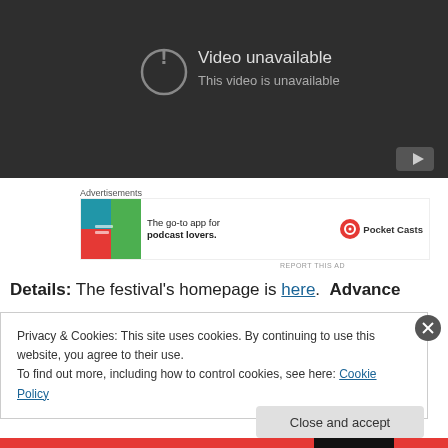[Figure (screenshot): YouTube video player showing 'Video unavailable - This video is unavailable' error message with a circle exclamation icon on a dark background. A YouTube logo button appears in the bottom right corner.]
Advertisements
[Figure (screenshot): Pocket Casts advertisement banner: colorful app icon on the left, text 'The go-to app for podcast lovers.' in the center, Pocket Casts logo and name on the right.]
REPORT THIS AD
Details:  The festival's homepage is here.  Advance
Privacy & Cookies: This site uses cookies. By continuing to use this website, you agree to their use.
To find out more, including how to control cookies, see here: Cookie Policy
Close and accept